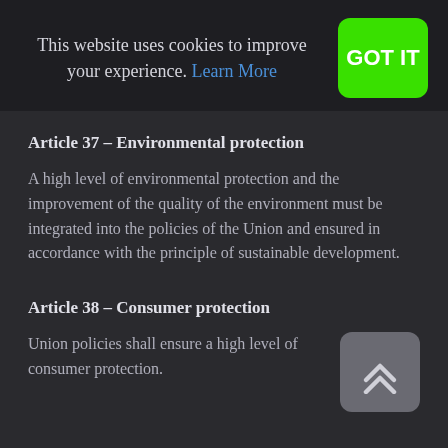This website uses cookies to improve your experience. Learn More
Article 37 – Environmental protection
A high level of environmental protection and the improvement of the quality of the environment must be integrated into the policies of the Union and ensured in accordance with the principle of sustainable development.
Article 38 – Consumer protection
Union policies shall ensure a high level of consumer protection.